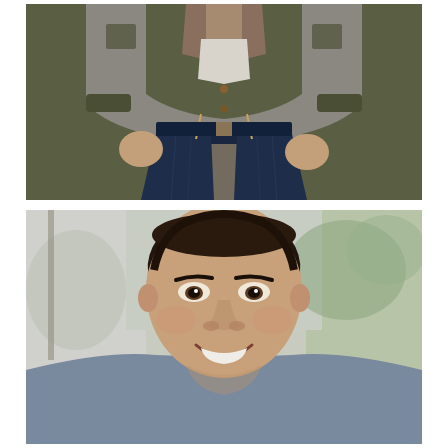[Figure (photo): Torso and lower body of a man wearing a dark olive/green military-style jacket over a plaid shirt and white t-shirt, with dark blue skinny jeans. The background is blurred outdoors.]
[Figure (photo): Headshot and upper body portrait of a smiling young man with short dark brown hair, wearing a grey/blue v-neck t-shirt. Background is blurred outdoor scene with trees and a light-colored building.]